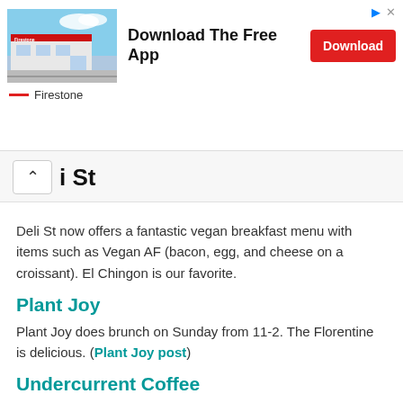[Figure (screenshot): Advertisement banner for Firestone featuring a store photo, 'Download The Free App' text, and a red Download button with ad icons in top right.]
i St
Deli St now offers a fantastic vegan breakfast menu with items such as Vegan AF (bacon, egg, and cheese on a croissant). El Chingon is our favorite.
Plant Joy
Plant Joy does brunch on Sunday from 11-2. The Florentine is delicious. (Plant Joy post)
Undercurrent Coffee
Located in Plaza Midwood, the menu clearly lists the vegan options featuring a chia bowl, avocado toast, and two salad bowls.